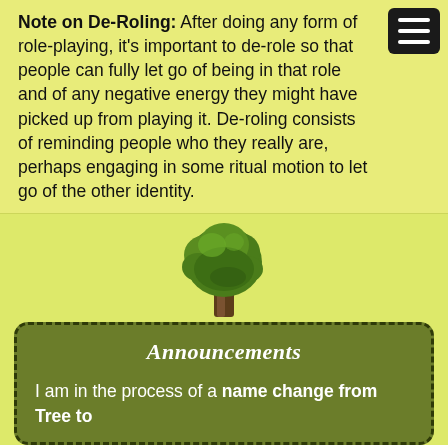Note on De-Roling: After doing any form of role-playing, it's important to de-role so that people can fully let go of being in that role and of any negative energy they might have picked up from playing it. De-roling consists of reminding people who they really are, perhaps engaging in some ritual motion to let go of the other identity.
[Figure (illustration): A green deciduous tree emoji/illustration centered on a yellow-green background]
Announcements
I am in the process of a name change from Tree to